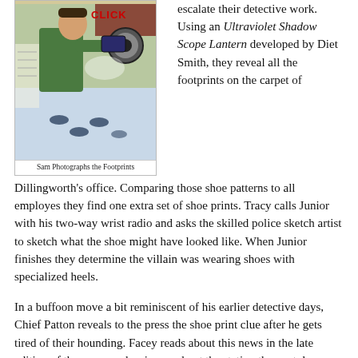[Figure (illustration): Comic strip panel showing a man in a green jacket photographing footprints on the floor using a camera-like device. The word 'CLICK' appears in red at the top. Caption reads: 'Sam Photographs the Footprints']
Sam Photographs the Footprints
escalate their detective work. Using an Ultraviolet Shadow Scope Lantern developed by Diet Smith, they reveal all the footprints on the carpet of Dillingworth's office. Comparing those shoe patterns to all employes they find one extra set of shoe prints. Tracy calls Junior with his two-way wrist radio and asks the skilled police sketch artist to sketch what the shoe might have looked like. When Junior finishes they determine the villain was wearing shoes with specialized heels.
In a buffoon move a bit reminiscent of his earlier detective days, Chief Patton reveals to the press the shoe print clue after he gets tired of their hounding. Facey reads about this news in the late edition of the paper and arrives early at the station the next day disguised as Dick Tracy. He